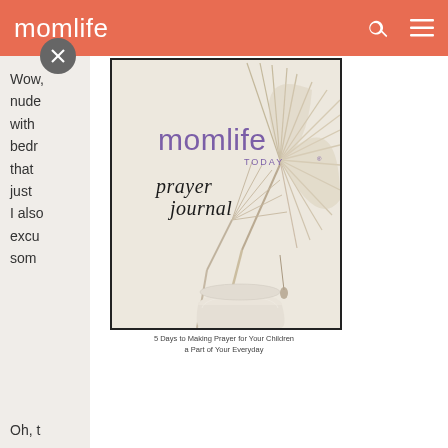momlife
Wow, n the nude, but with bedr er, that s just I also excu som
[Figure (illustration): Book cover for 'momlife TODAY prayer journal' — features a dried palm leaf in a white ceramic vase against a warm beige background. Title text: 'momlife TODAY' in purple/sans-serif and 'prayer journal' in black script. Subtitle: '5 Days to Making Prayer for Your Children a Part of Your Everyday']
Oh, t l